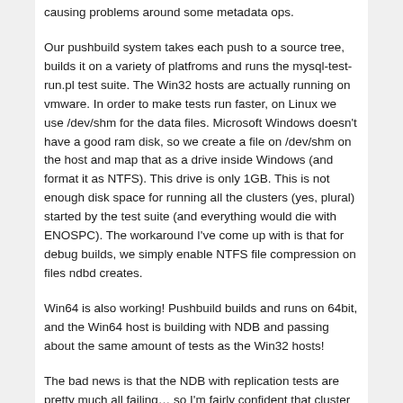causing problems around some metadata ops.
Our pushbuild system takes each push to a source tree, builds it on a variety of platfroms and runs the mysql-test-run.pl test suite. The Win32 hosts are actually running on vmware. In order to make tests run faster, on Linux we use /dev/shm for the data files. Microsoft Windows doesn't have a good ram disk, so we create a file on /dev/shm on the host and map that as a drive inside Windows (and format it as NTFS). This drive is only 1GB. This is not enough disk space for running all the clusters (yes, plural) started by the test suite (and everything would die with ENOSPC). The workaround I've come up with is that for debug builds, we simply enable NTFS file compression on files ndbd creates.
Win64 is also working! Pushbuild builds and runs on 64bit, and the Win64 host is building with NDB and passing about the same amount of tests as the Win32 hosts!
The bad news is that the NDB with replication tests are pretty much all failing… so I'm fairly confident that cluster